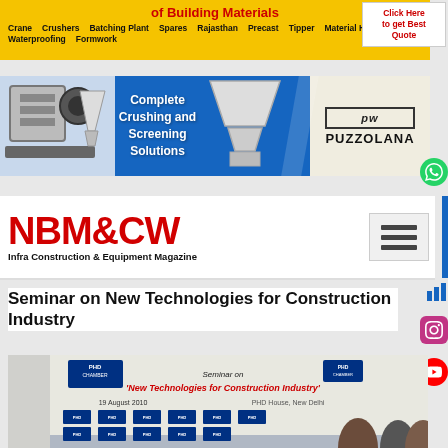[Figure (infographic): Yellow banner advertisement for building materials with categories: Crane, Crushers, Batching Plant, Spares, Rajasthan, Precast, Tipper, Material Handling, Waterproofing, Formwork. Click Here to get Best Quote button on right.]
[Figure (infographic): Blue banner advertisement for Puzzolana - Complete Crushing and Screening Solutions, showing crusher machinery images on left and Puzzolana logo on right.]
[Figure (logo): NBM&CW - Infra Construction & Equipment Magazine logo in red bold text with hamburger menu icon on the right.]
Seminar on New Technologies for Construction Industry
[Figure (photo): Photo of seminar event showing PHD Chamber backdrop with text 'Seminar on New Technologies for Construction Industry, 19 August 2010, PHD House, New Delhi' with attendees standing in front.]